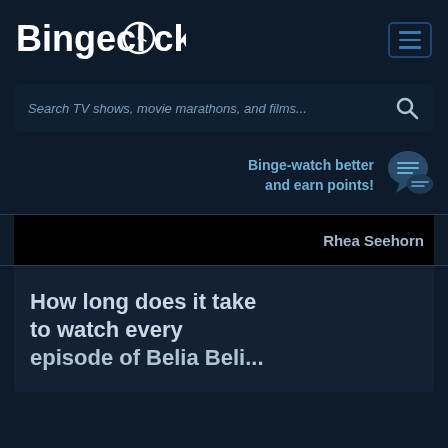[Figure (logo): Bingeclock logo with clock icon integrated into the letter O]
[Figure (screenshot): Hamburger menu button with three horizontal lines, dark blue border]
Search TV shows, movie marathons, and films...
Binge-watch better and earn points!
[Figure (illustration): Chat bubble icon with lines]
Rhea Seehorn
How long does it take to watch every episode of Belia Beli...